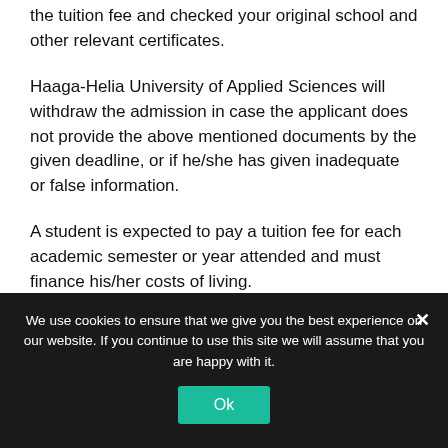the tuition fee and checked your original school and other relevant certificates.
Haaga-Helia University of Applied Sciences will withdraw the admission in case the applicant does not provide the above mentioned documents by the given deadline, or if he/she has given inadequate or false information.
A student is expected to pay a tuition fee for each academic semester or year attended and must finance his/her costs of living.
We use cookies to ensure that we give you the best experience on our website. If you continue to use this site we will assume that you are happy with it.